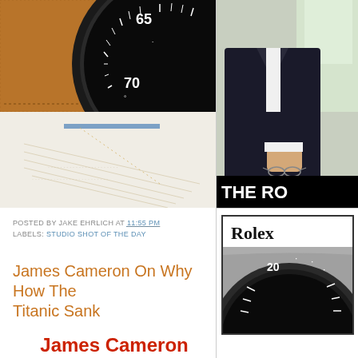[Figure (photo): Close-up photo of a leather-bound item with an orange tassel and a watch bezel showing numbers 65 and 70, on papers]
POSTED BY JAKE EHRLICH AT 11:55 PM
LABELS: STUDIO SHOT OF THE DAY
[Figure (photo): Photo of a man in a dark suit holding glasses, partial view of torso and hand]
THE RO
James Cameron On Why How The Titanic Sank
[Figure (photo): Rolex brand section with Rolex text and partial watch image showing bezel with number 20]
Rolex
James Cameron
How And Why The Titanic Sank